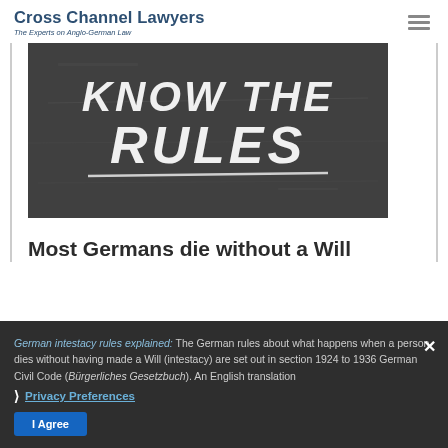Cross Channel Lawyers — The Experts on Anglo-German Law
[Figure (photo): Chalkboard with handwritten text reading 'KNOW THE RULES' in white chalk]
Most Germans die without a Will
German intestacy rules explained: The German rules about what happens when a person dies without having made a Will (intestacy) are set out in section 1924 to 1936 German Civil Code (Bürgerliches Gesetzbuch). An English translation
Privacy Preferences — I Agree